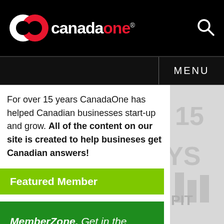canadaone
MENU
For over 15 years CanadaOne has helped Canadian businesses start-up and grow. All of the content on our site is created to help busineses get Canadian answers!
Featured Member
MemberZone. Get in the zone! Join Today!